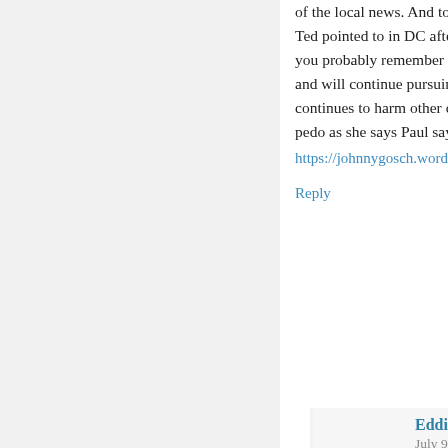of the local news. And to make her react favorably... Ted pointed to in DC after Ted started working with... you probably remember when they found me. I live... and will continue pursuing the political cult who ha... continues to harm other children as you read this. pedo as she says Paul says
https://johnnygosch.wordpress.com/
Reply
Eddie says:
July 9, 2022 at 12:21 am
You are deranged for associating Operation M... Johnny's disappearance. Nice try, Noreen.
Reply
Tom J. says:
May 21, 2022 at 8:41 pm
Mike, why don't you just man up and say what you re... just an annoying troll adding nothing to this conversat...
Reply